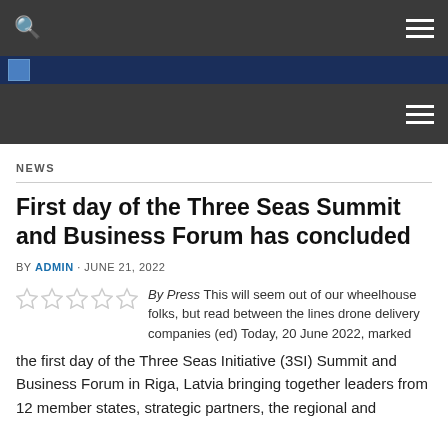NEWS
First day of the Three Seas Summit and Business Forum has concluded
BY ADMIN · JUNE 21, 2022
By Press This will seem out of our wheelhouse folks, but read between the lines drone delivery companies (ed) Today, 20 June 2022, marked the first day of the Three Seas Initiative (3SI) Summit and Business Forum in Riga, Latvia bringing together leaders from 12 member states, strategic partners, the regional and